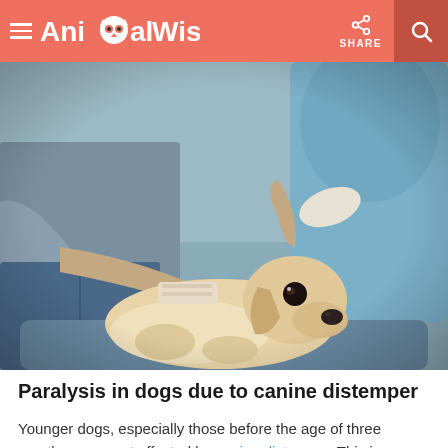AnimalWised — SHARE
[Figure (photo): A golden/cream Labrador dog lying down on a blue surface at a veterinary clinic, being gently held by two people — one in casual clothes and one in blue surgical scrubs. The dog appears calm but unwell.]
Paralysis in dogs due to canine distemper
Younger dogs, especially those before the age of three months, are most affected by canine distemper. This is a